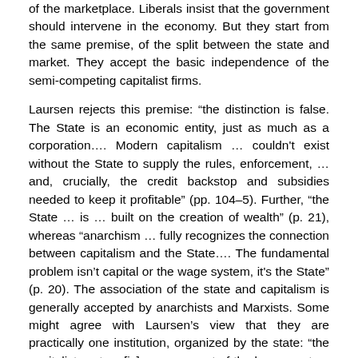of the marketplace. Liberals insist that the government should intervene in the economy. But they start from the same premise, of the split between the state and market. They accept the basic independence of the semi-competing capitalist firms.
Laursen rejects this premise: “the distinction is false. The State is an economic entity, just as much as a corporation…. Modern capitalism … couldn't exist without the State to supply the rules, enforcement, … and, crucially, the credit backstop and subsidies needed to keep it profitable” (pp. 104–5). Further, “the State … is … built on the creation of wealth” (p. 21), whereas “archism … fully recognizes the connection between capitalism and the State…. The fundamental problem isn’t capital or the wage system, it's the State” (p. 20). The association of the state and capitalism is generally accepted by anarchists and Marxists. Some might agree with Laursen’s view that they are practically one institution, organized by the state: “the capitalist system [is] a component of the larger system of the State” (p. 111), whereby, “most importantly, capital is part of the State” (p. 22). This view may lead to overemphasizing the power of the state over capitalism: “when the State wants to address an economic disruption, its power is virtually unlimited” (p. 53). Perhaps—in theory—but its willingness to use that potentially “unlimited” power is limited by the pressure of the capitalists.